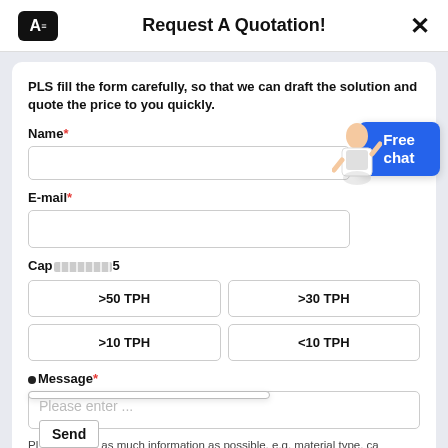Request A Quotation!
PLS fill the form carefully, so that we can draft the solution and quote the price to you quickly.
Name*
E-mail*
Capacity*5
>50 TPH
>30 TPH
>10 TPH
<10 TPH
Message*
Please enter ...
Please include as much information as possible, e.g. material type, capacity, products required, application and location.
Send
[Figure (illustration): Blue Free chat button and assistant figure in top right of form card]